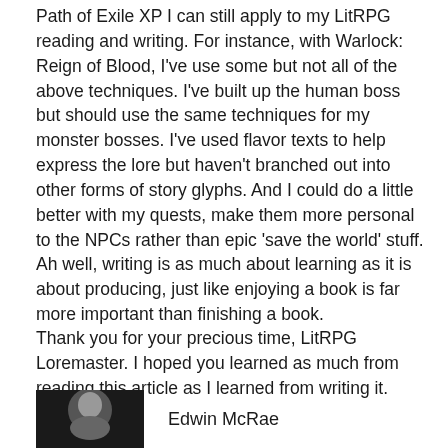Path of Exile XP I can still apply to my LitRPG reading and writing. For instance, with Warlock: Reign of Blood, I've use some but not all of the above techniques. I've built up the human boss but should use the same techniques for my monster bosses. I've used flavor texts to help express the lore but haven't branched out into other forms of story glyphs. And I could do a little better with my quests, make them more personal to the NPCs rather than epic 'save the world' stuff. Ah well, writing is as much about learning as it is about producing, just like enjoying a book is far more important than finishing a book.
Thank you for your precious time, LitRPG Loremaster. I hoped you learned as much from reading this article as I learned from writing it.
[Figure (photo): Black and white portrait photo (partial, cropped at bottom), showing a person's head and upper shoulders.]
Edwin McRae